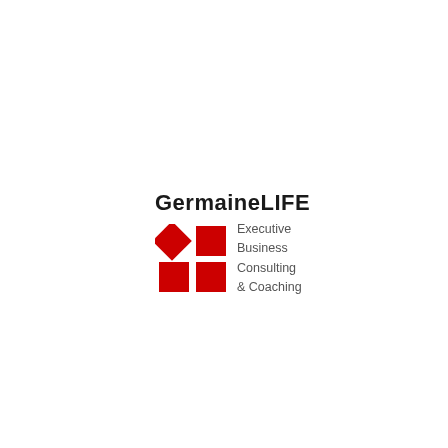[Figure (logo): GermaineLIFE logo consisting of bold text 'GermaineLIFE' above a graphic with four red squares/diamond shapes arranged in a 2x2 grid (top-left is a rotated diamond, top-right is a square, bottom-left and bottom-right are squares), next to the tagline text 'Executive Business Consulting & Coaching' in gray.]